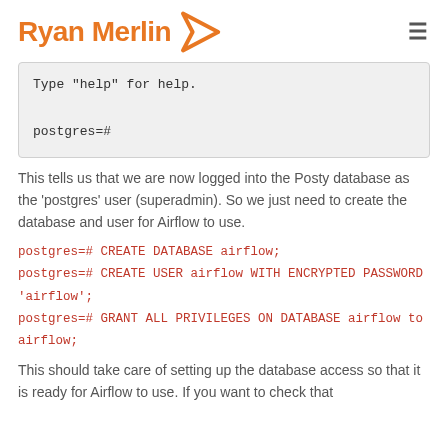Ryan Merlin
Type "help" for help.

postgres=#
This tells us that we are now logged into the Posty database as the 'postgres' user (superadmin). So we just need to create the database and user for Airflow to use.
postgres=# CREATE DATABASE airflow;
postgres=# CREATE USER airflow WITH ENCRYPTED PASSWORD 'airflow';
postgres=# GRANT ALL PRIVILEGES ON DATABASE airflow to airflow;
This should take care of setting up the database access so that it is ready for Airflow to use. If you want to check that